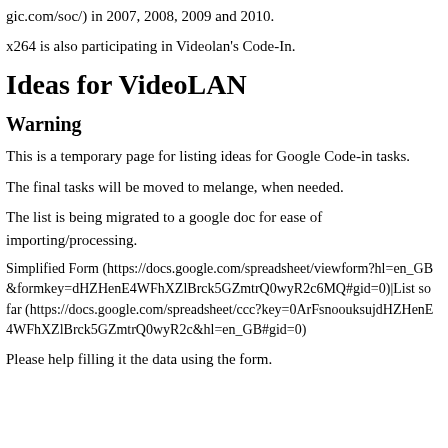gic.com/soc/) in 2007, 2008, 2009 and 2010.
x264 is also participating in Videolan's Code-In.
Ideas for VideoLAN
Warning
This is a temporary page for listing ideas for Google Code-in tasks.
The final tasks will be moved to melange, when needed.
The list is being migrated to a google doc for ease of importing/processing.
Simplified Form (https://docs.google.com/spreadsheet/viewform?hl=en_GB&formkey=dHZHenE4WFhXZlBrck5GZmtrQ0wyR2c6MQ#gid=0)|List so far (https://docs.google.com/spreadsheet/ccc?key=0ArFsnoouksujdHZHenE4WFhXZlBrck5GZmtrQ0wyR2c&hl=en_GB#gid=0)
Please help filling it the data using the form.